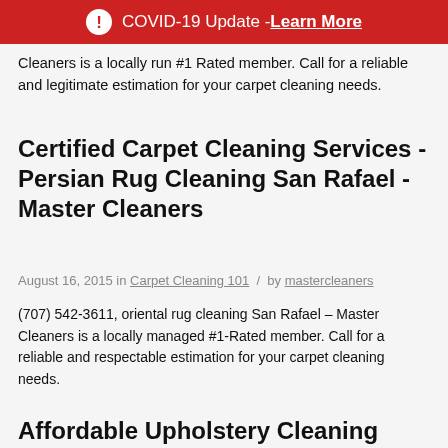COVID-19 Update - Learn More
Cleaners is a locally run #1 Rated member. Call for a reliable and legitimate estimation for your carpet cleaning needs.
Certified Carpet Cleaning Services - Persian Rug Cleaning San Rafael - Master Cleaners
August 16, 2015 in Carpet Cleaning 101 / by mastercleaners
(707) 542-3611, oriental rug cleaning San Rafael – Master Cleaners is a locally managed #1-Rated member. Call for a reliable and respectable estimation for your carpet cleaning needs.
Affordable Upholstery Cleaning Santa Rosa - Carpet Cleaners - Master Cleaners